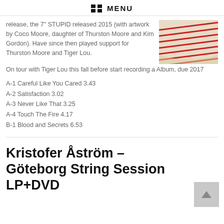MENU
release, the 7" STUPID released 2015 (with artwork by Coco Moore, daughter of Thurston Moore and Kim Gordon). Have since then played support for Thurston Moore and Tiger Lou. On tour with Tiger Lou this fall before start recording a Album, due 2017
[Figure (photo): Album cover or artwork showing red lines on a beige/cream background, diagonal striped pattern]
A-1 Careful Like You Cared 3.43
A-2 Satisfaction 3.02
A-3 Never Like That 3.25
A-4 Touch The Fire 4.17
B-1 Blood and Secrets 6.53
Kristofer Åström – Göteborg String Session LP+DVD